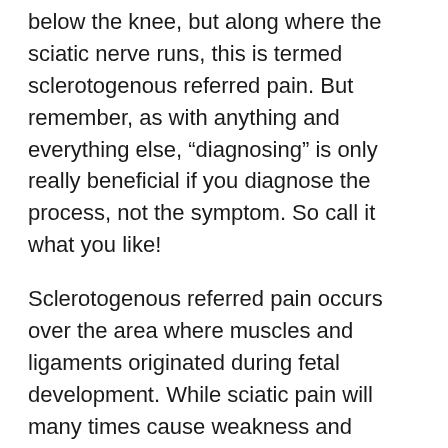below the knee, but along where the sciatic nerve runs, this is termed sclerotogenous referred pain. But remember, as with anything and everything else, “diagnosing” is only really beneficial if you diagnose the process, not the symptom. So call it what you like!
Sclerotogenous referred pain occurs over the area where muscles and ligaments originated during fetal development. While sciatic pain will many times cause weakness and fatigue, sclerotogenous pain will (usually) not. Both sciatic pain and sclerotogenous can be present together and they can both occur from the same problem. Take, for example, an injury to the lower back involving the fifth lumbar disc. This injury can alter biomechanics resulting in sciatic nerve impingement. Since the fifth lumbar